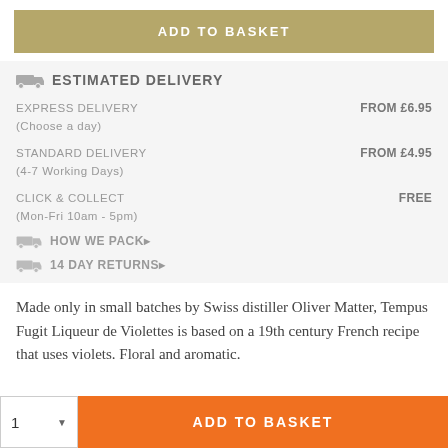ADD TO BASKET
ESTIMATED DELIVERY
EXPRESS DELIVERY (Choose a day)   FROM £6.95
STANDARD DELIVERY (4-7 Working Days)   FROM £4.95
CLICK & COLLECT (Mon-Fri 10am - 5pm)   FREE
HOW WE PACK▶
14 DAY RETURNS▶
Made only in small batches by Swiss distiller Oliver Matter, Tempus Fugit Liqueur de Violettes is based on a 19th century French recipe that uses violets. Floral and aromatic.
1  ADD TO BASKET